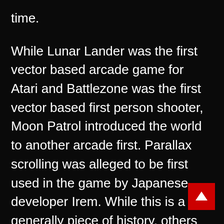time.
While Lunar Lander was the first vector based arcade game for Atari and Battlezone was the first vector based first person shooter, Moon Patrol introduced the world to another arcade first. Parallax scrolling was alleged to be first used in the game by Japanese developer Irem. While this is a generally piece of history, others would argue that the Eugene Jarvis developed Defender was the first game to do so.
Released by Williams, Defender uses a form of scrolling but video game enthusiasts online can be found arguing over the